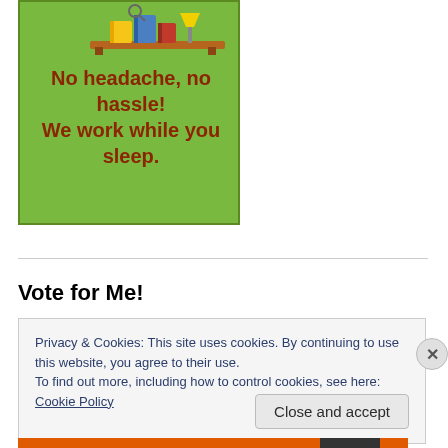[Figure (illustration): Green advertisement banner with cartoon illustration of books/desk at top, text reads 'No headache, no hassle! We work while you sleep.' in dark red bold font on green background.]
Vote for Me!
Privacy & Cookies: This site uses cookies. By continuing to use this website, you agree to their use.
To find out more, including how to control cookies, see here: Cookie Policy